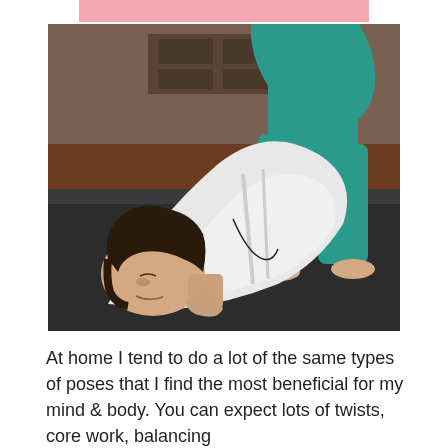FLEXIBILITY
[Figure (photo): A woman performing a yoga bridge pose on a dark yoga mat, wearing a white top and teal/green pants, photographed in a studio or home setting with wooden flooring.]
At home I tend to do a lot of the same types of poses that I find the most beneficial for my mind & body. You can expect lots of twists, core work, balancing